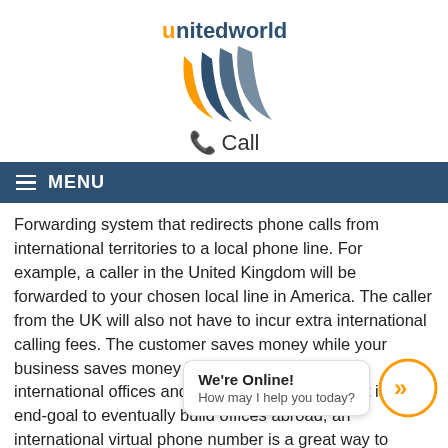[Figure (logo): United World Telecom logo with orange and dark blue swoosh shapes and text 'unitedworld telecom']
📞 Call
≡ MENU
Forwarding system that redirects phone calls from international territories to a local phone line. For example, a caller in the United Kingdom will be forwarded to your chosen local line in America. The caller from the UK will also not have to incur extra international calling fees. The customer saves money while your business saves money by not having to build international offices and hire new employees. If it is your end-goal to eventually build offices abroad, an international virtual phone number is a great way to establish roots in a
Benefits of Using an International Virtual
[Figure (screenshot): Chat overlay showing 'We're Online! How may I help you today?' with an orange circular button with double chevron]